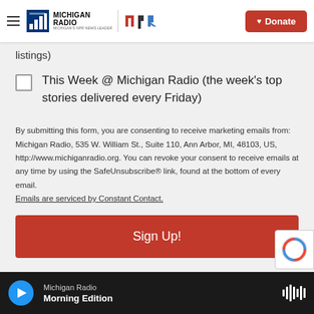Michigan Radio | NPR | Donate
listings)
This Week @ Michigan Radio (the week's top stories delivered every Friday)
By submitting this form, you are consenting to receive marketing emails from: Michigan Radio, 535 W. William St., Suite 110, Ann Arbor, MI, 48103, US, http://www.michiganradio.org. You can revoke your consent to receive emails at any time by using the SafeUnsubscribe® link, found at the bottom of every email. Emails are serviced by Constant Contact.
Sign Up!
Michigan Radio | Morning Edition